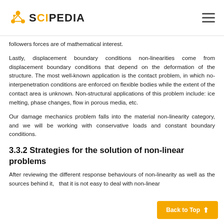SCIPEDIA
followers forces are of mathematical interest.
Lastly, displacement boundary conditions non-linearities come from displacement boundary conditions that depend on the deformation of the structure. The most well-known application is the contact problem, in which no-interpenetration conditions are enforced on flexible bodies while the extent of the contact area is unknown. Non-structural applications of this problem include: ice melting, phase changes, flow in porous media, etc.
Our damage mechanics problem falls into the material non-linearity category, and we will be working with conservative loads and constant boundary conditions.
3.3.2 Strategies for the solution of non-linear problems
After reviewing the different response behaviours of non-linearity as well as the sources behind it, that it is not easy to deal with non-linear problems. Several